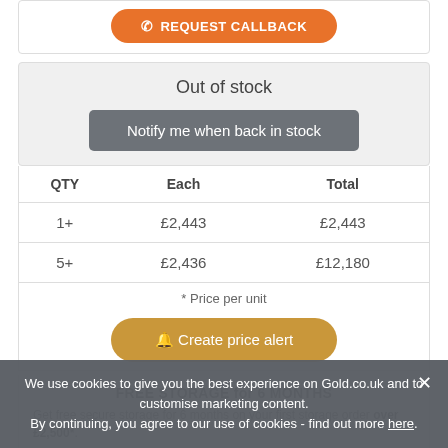REQUEST CALLBACK
Out of stock
Notify me when back in stock
| QTY | Each | Total |
| --- | --- | --- |
| 1+ | £2,443 | £2,443 |
| 5+ | £2,436 | £12,180 |
* Price per unit
Create price alert
FREE STORAGE for 6 MONTHS
Get free secure storage for 6 months on your first storage order over £2,500*.
We use cookies to give you the best experience on Gold.co.uk and to customise marketing content.
By continuing, you agree to our use of cookies - find out more here.